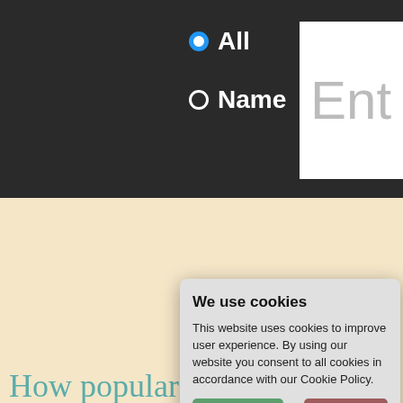[Figure (screenshot): Website header with dark background showing radio buttons for All and Name search, with a text entry box partially visible on the right]
MASCULINE FORM Makena
CREATIVE FORMS
(female) Show ▼
(male) Show ▼
We use cookies
This website uses cookies to improve user experience. By using our website you consent to all cookies in accordance with our Cookie Policy.
Yes I agree
I disagree
Read more
Free cookie consent by cookie-script.com
How popular is Makena?